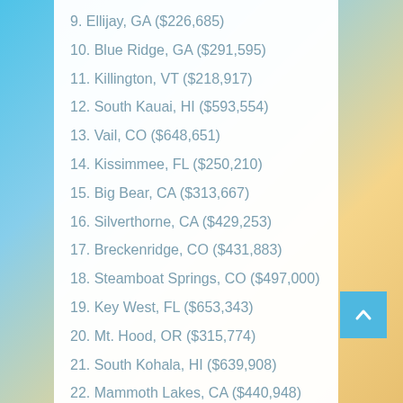9. Ellijay, GA ($226,685)
10. Blue Ridge, GA ($291,595)
11. Killington, VT ($218,917)
12. South Kauai, HI ($593,554)
13. Vail, CO ($648,651)
14. Kissimmee, FL ($250,210)
15. Big Bear, CA ($313,667)
16. Silverthorne, CA ($429,253)
17. Breckenridge, CO ($431,883)
18. Steamboat Springs, CO ($497,000)
19. Key West, FL ($653,343)
20. Mt. Hood, OR ($315,774)
21. South Kohala, HI ($639,908)
22. Mammoth Lakes, CA ($440,948)
23. Harbor Springs, MI ($326,957)
24. Corpus Christi, TX ($295,383)